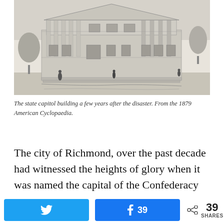[Figure (illustration): Black and white engraving of a large neoclassical state capitol building with columns, surrounded by trees and people walking in front.]
The state capitol building a few years after the disaster. From the 1879 American Cyclopaedia.
The city of Richmond, over the past decade had witnessed the heights of glory when it was named the capital of the Confederacy to the depths of despair as war waged around it. A